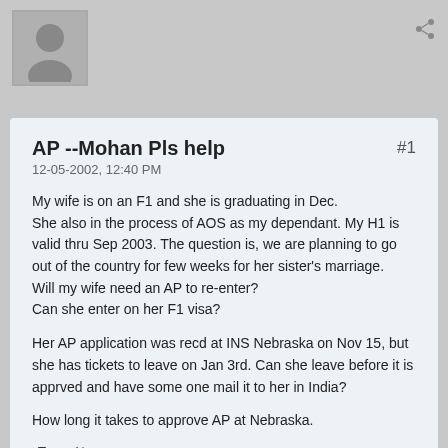[Figure (illustration): User avatar placeholder - grey silhouette of a person on light grey background]
AP --Mohan Pls help
12-05-2002, 12:40 PM
My wife is on an F1 and she is graduating in Dec.
She also in the process of AOS as my dependant. My H1 is valid thru Sep 2003. The question is, we are planning to go out of the country for few weeks for her sister's marriage.
Will my wife need an AP to re-enter?
Can she enter on her F1 visa?
Her AP application was recd at INS Nebraska on Nov 15, but she has tickets to leave on Jan 3rd. Can she leave before it is apprved and have some one mail it to her in India?
How long it takes to approve AP at Nebraska.
Tags: None
[Figure (illustration): Second user avatar placeholder at the bottom of the page]